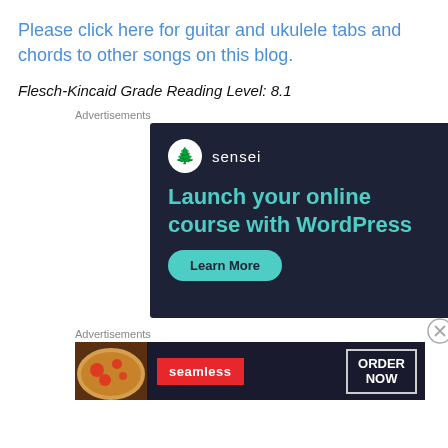Please click here for guitar and ukulele tabs and chords to other songs on this blog.
Flesch-Kincaid Grade Reading Level: 8.1
Advertisements
[Figure (illustration): Sensei advertisement: Dark navy background with Sensei logo (tree icon in circle), text 'Launch your online course with WordPress', teal 'Learn More' button]
Advertisements
[Figure (illustration): Seamless food delivery advertisement: Dark background with pizza image on left, red Seamless badge, and 'ORDER NOW' button in outlined box]